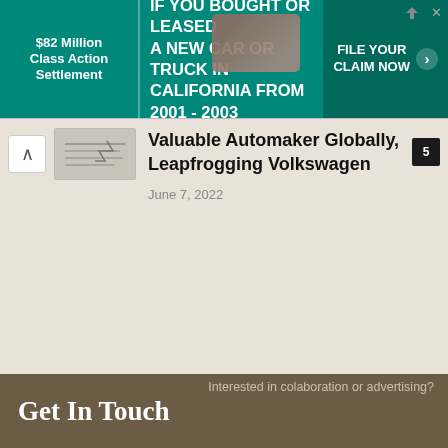[Figure (screenshot): Advertisement banner: $82 Million Class Action Settlement - If you bought or leased a new car or truck in California from 2001-2003 - FILE YOUR CLAIM NOW]
Valuable Automaker Globally, Leapfrogging Volkswagen
June 7, 2022
Interested in colaboration or advertising?
Get In Touch
✉  info@carnewschina.com
Follow us on social media